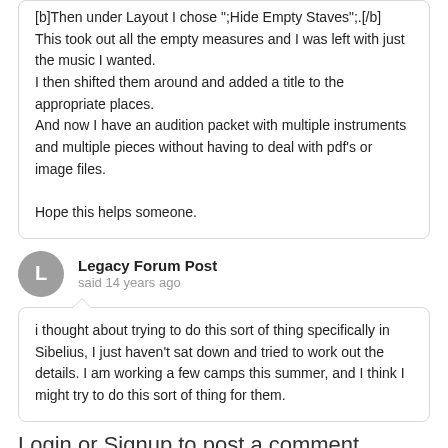[b]Then under Layout I chose ";Hide Empty Staves";.[/b]  This took out all the empty measures and I was left with just the music I wanted.
I then shifted them around and added a title to the appropriate places.
And now I have an audition packet with multiple instruments and multiple pieces without having to deal with pdf's or image files.

Hope this helps someone.
Legacy Forum Post
said 14 years ago
i thought about trying to do this sort of thing specifically in Sibelius, I just haven't sat down and tried to work out the details. I am working a few camps this summer, and I think I might try to do this sort of thing for them.
Login or Signup to post a comment